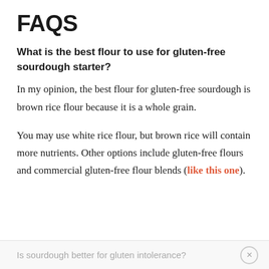FAQS
What is the best flour to use for gluten-free sourdough starter?
In my opinion, the best flour for gluten-free sourdough is brown rice flour because it is a whole grain.
You may use white rice flour, but brown rice will contain more nutrients. Other options include gluten-free flours and commercial gluten-free flour blends (like this one).
Is sourdough better for gluten intolerance?